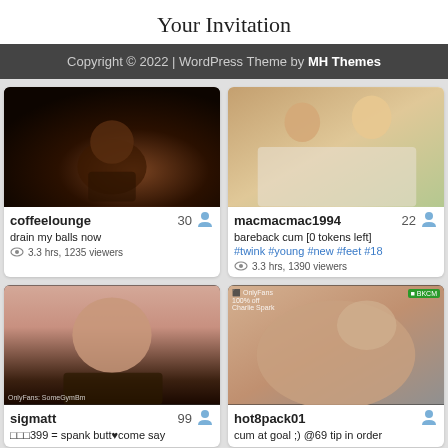Your Invitation
Copyright © 2022 | WordPress Theme by MH Themes
[Figure (photo): Webcam thumbnail for coffeelounge]
coffeelounge   30
drain my balls now
3.3 hrs, 1235 viewers
[Figure (photo): Webcam thumbnail for macmacmac1994]
macmacmac1994   22
bareback cum [0 tokens left]
#twink #young #new #feet #18
3.3 hrs, 1390 viewers
[Figure (photo): Webcam thumbnail for sigmatt with OnlyFans watermark]
sigmatt   99
□□□399 = spank butt♥come say
[Figure (photo): Webcam thumbnail for hot8pack01]
hot8pack01
cum at goal ;) @69 tip in order